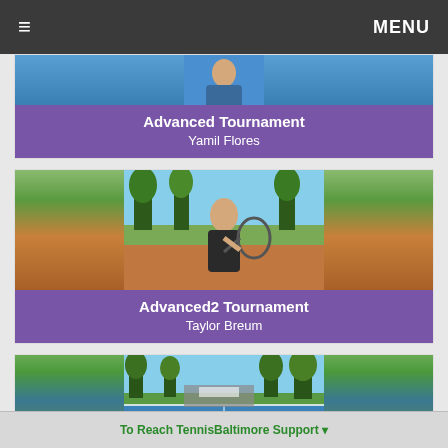≡  MENU
[Figure (photo): Photo card with purple overlay showing 'Advanced Tournament' title and player name 'Yamil Flores']
Advanced Tournament
Yamil Flores
[Figure (photo): Photo of Taylor Breum, a young man holding a tennis racket on an outdoor tennis court with trees in the background]
Advanced2 Tournament
Taylor Breum
[Figure (photo): Photo of an outdoor tennis court with trees in the background]
To Reach TennisBaltimore Support ▾